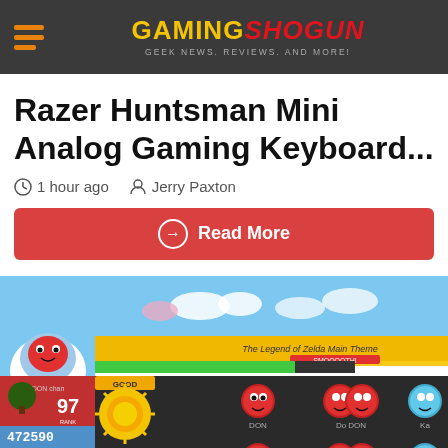GAMING SHOGUN — GEEK NEWS. REVIEWS. AND MORE!
Razer Huntsman Mini Analog Gaming Keyboard...
1 hour ago   Jerry Paxton
Read More
[Figure (screenshot): Screenshot of Taiko no Tatsujin rhythm game showing The Legend of Zelda Main Theme, with score 472590, rank 97, and note lanes showing DON, Do, DON, Ka notes with smiley face icons]